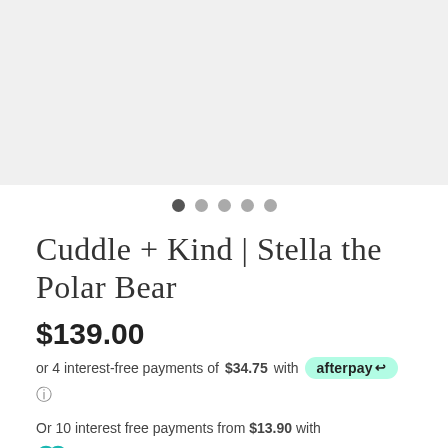[Figure (photo): Product image placeholder area (light gray background, image not shown)]
Cuddle + Kind | Stella the Polar Bear
$139.00
or 4 interest-free payments of $34.75 with afterpay
Or 10 interest free payments from $13.90 with genoapay What's this?
Or 6 weekly interest free payments from $23.16 with LAYBUY what's this?